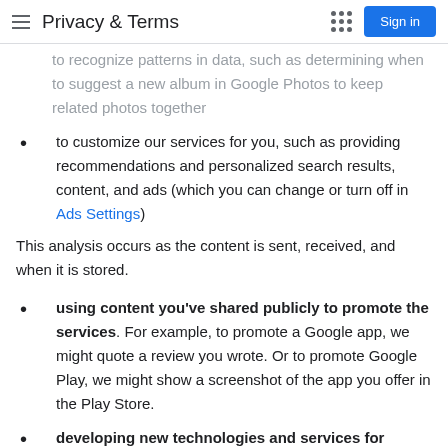Privacy & Terms
to recognize patterns in data, such as determining when to suggest a new album in Google Photos to keep related photos together
to customize our services for you, such as providing recommendations and personalized search results, content, and ads (which you can change or turn off in Ads Settings)
This analysis occurs as the content is sent, received, and when it is stored.
using content you've shared publicly to promote the services. For example, to promote a Google app, we might quote a review you wrote. Or to promote Google Play, we might show a screenshot of the app you offer in the Play Store.
developing new technologies and services for Google